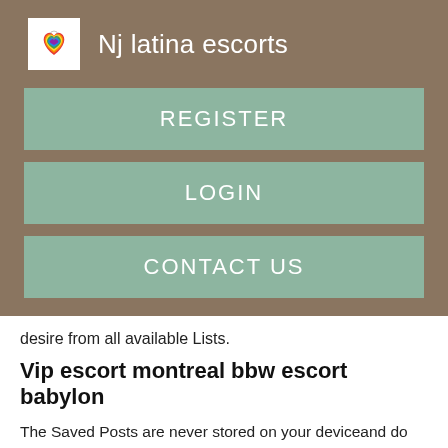Nj latina escorts
REGISTER
LOGIN
CONTACT US
desire from all available Lists.
Vip escort montreal bbw escort babylon
The Saved Posts are never stored on your deviceand do not leave any trace - yet you can instantly and securely access them anywhere, anytime. Gives you the ability to make Private Notes and comments on specific Posts and store local escorts roanoke va for future reference. Permits you to temporarily mark select Posts for your own quick visibility.